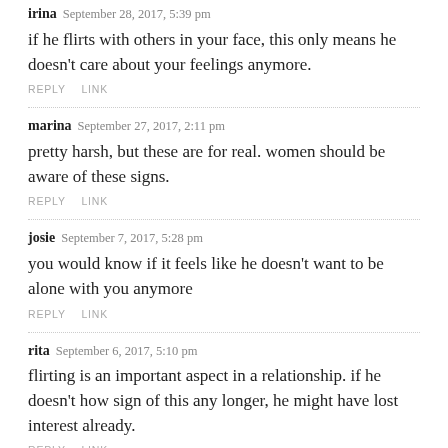irina September 28, 2017, 5:39 pm
if he flirts with others in your face, this only means he doesn't care about your feelings anymore.
REPLY  LINK
marina September 27, 2017, 2:11 pm
pretty harsh, but these are for real. women should be aware of these signs.
REPLY  LINK
josie September 7, 2017, 5:28 pm
you would know if it feels like he doesn't want to be alone with you anymore
REPLY  LINK
rita September 6, 2017, 5:10 pm
flirting is an important aspect in a relationship. if he doesn't how sign of this any longer, he might have lost interest already.
REPLY  LINK